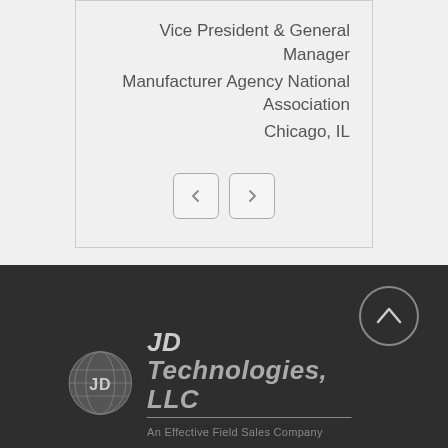Vice President & General Manager
Manufacturer Agency National Association
Chicago, IL
[Figure (other): Navigation previous and next arrow buttons in rounded square style]
[Figure (logo): JD Technologies LLC logo with globe icon and tagline 'An Effective Field Sales Company']
[Figure (other): Scroll to top circular button with upward arrow, on dark background]